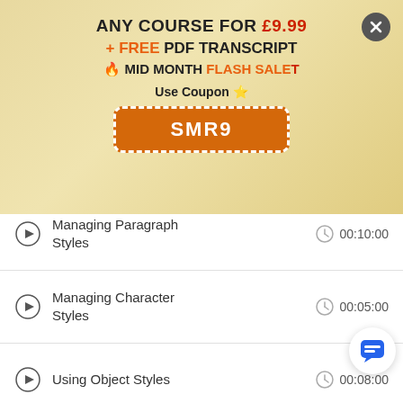[Figure (infographic): Promotional banner with gradient background showing: ANY COURSE FOR £9.99 + FREE PDF TRANSCRIPT, MID MONTH FLASH SALE, Use Coupon SMR9]
Managing Paragraph Styles  00:10:00
Managing Character Styles  00:05:00
Using Object Styles  00:08:00
Working with Tables
Creating Tables  00:10:00
Formatting Tables and…